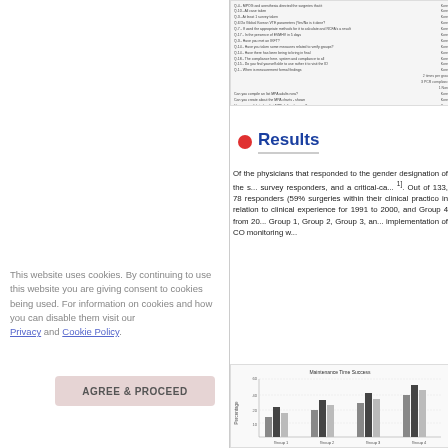[Figure (table-as-image): Survey questionnaire table showing questions and response options, partially visible at top of right column]
Results
Of the physicians that responded to the gender designation of the survey responders, and a critical-care 1]. Out of 133, 78 responders (59% surgeries within their clinical practice in relation to clinical experience for 1991 to 2000, and Group 4 from 20 Group 1, Group 2, Group 3, an implementation of CO monitoring w
[Figure (grouped-bar-chart): Bar chart labeled 'Maintenance Time Success' showing percentage data across groups with black and gray bars]
This website uses cookies. By continuing to use this website you are giving consent to cookies being used. For information on cookies and how you can disable them visit our
Privacy and Cookie Policy.
AGREE & PROCEED